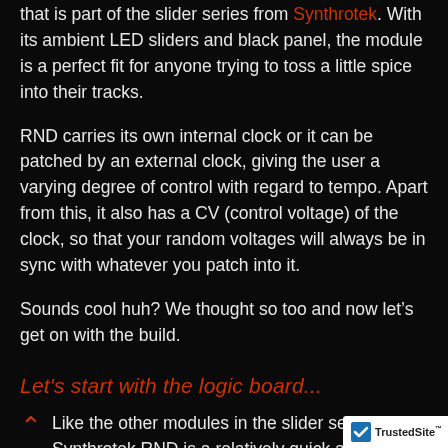that is part of the slider series from Synthrotek. With its ambient LED sliders and black panel, the module is a perfect fit for anyone trying to toss a little spice into their tracks.
RND carries its own internal clock or it can be patched by an external clock, giving the user a varying degree of control with regard to tempo. Apart from this, it also has a CV (control voltage) of the clock, so that your random voltages will always be in sync with whatever you patch into it.
Sounds cool huh? We thought so too and now let’s get on with the build.
Let's start with the logic board...
Like the other modules in the slider series, the Synthrotek RND is a relatively quick and easy build thanks to the detailed